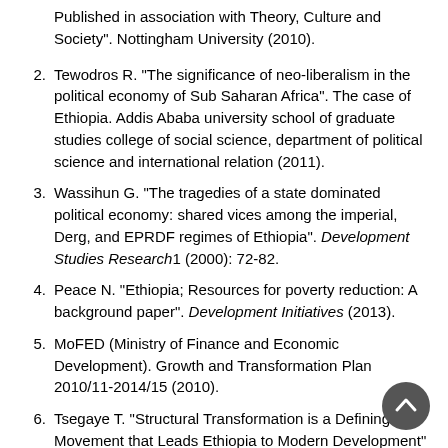Published in association with Theory, Culture and Society". Nottingham University (2010).
2. Tewodros R. "The significance of neo-liberalism in the political economy of Sub Saharan Africa". The case of Ethiopia. Addis Ababa university school of graduate studies college of social science, department of political science and international relation (2011).
3. Wassihun G. "The tragedies of a state dominated political economy: shared vices among the imperial, Derg, and EPRDF regimes of Ethiopia". Development Studies Research1 (2000): 72-82.
4. Peace N. "Ethiopia; Resources for poverty reduction: A background paper". Development Initiatives (2013).
5. MoFED (Ministry of Finance and Economic Development). Growth and Transformation Plan 2010/11-2014/15 (2010).
6. Tsegaye T. "Structural Transformation is a Defining Movement that Leads Ethiopia to Modern Development" (2011).
7. George S. "Structural change". A short history of neo-liberalism (1999).
8. Greg I and Mark W. "How Milton Friedman Changed Economics, Policy and Markets". The Wall street Journal